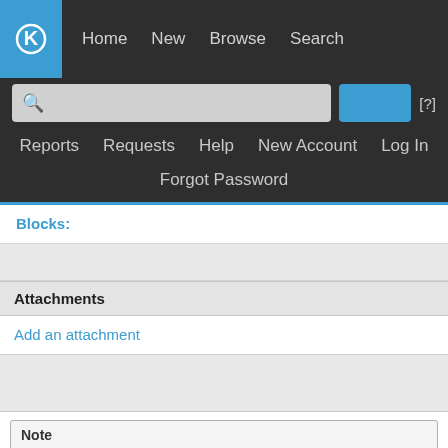[Figure (screenshot): KDE Bugtracker navigation bar with logo, Home, New, Browse, Search links, search box, and secondary nav: Reports, Requests, Help, New Account, Log In, Forgot Password]
Blocks:
Attachments
Add an attachment
Note
You need to log in before you can comment on or make changes to this bu